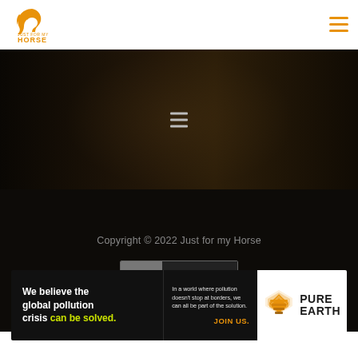[Figure (logo): Just for my Horse logo - orange horse head silhouette with text HORSE below]
[Figure (other): Hamburger menu icon (three horizontal lines) in orange in top right header]
[Figure (photo): Dark hero banner image with blurred equestrian background and hamburger menu icon centered]
Copyright © 2022 Just for my Horse
[Figure (other): DMCA PROTECTED badge with grey DMCA label on left and dark PROTECTED text on right]
[Figure (other): Pure Earth advertisement banner: black left panel with text 'We believe the global pollution crisis can be solved.' and right panel with description and JOIN US CTA, Pure Earth logo on white background]